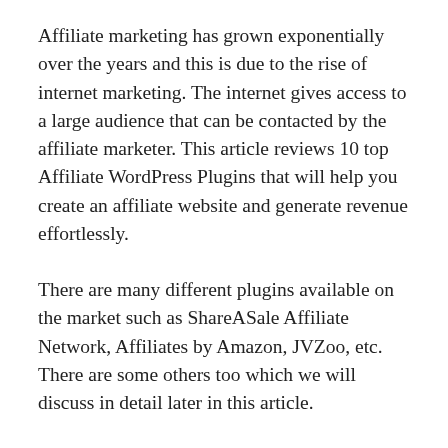Affiliate marketing has grown exponentially over the years and this is due to the rise of internet marketing. The internet gives access to a large audience that can be contacted by the affiliate marketer. This article reviews 10 top Affiliate WordPress Plugins that will help you create an affiliate website and generate revenue effortlessly.
There are many different plugins available on the market such as ShareASale Affiliate Network, Affiliates by Amazon, JVZoo, etc. There are some others too which we will discuss in detail later in this article.
Affiliate Marketers have a lot of work to do and they need tools that can make their work easier for them. These plugins help them achieve their…